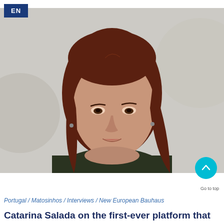EN
[Figure (photo): Portrait photo of a woman with long auburn/reddish-brown hair, wearing a dark green/black top, against a light grey background with decorative circular shapes.]
Go to top
Portugal / Matosinhos / Interviews / New European Bauhaus
Catarina Salada on the first-ever platform that